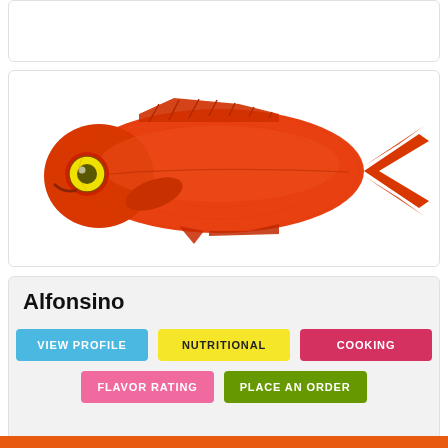[Figure (photo): Photo of an Alfonsino fish — a bright orange-red deep-sea fish with large eyes, shown in side profile on a white background]
Alfonsino
VIEW PROFILE
NUTRITIONAL
COOKING
FLAVOR RATING
PLACE AN ORDER